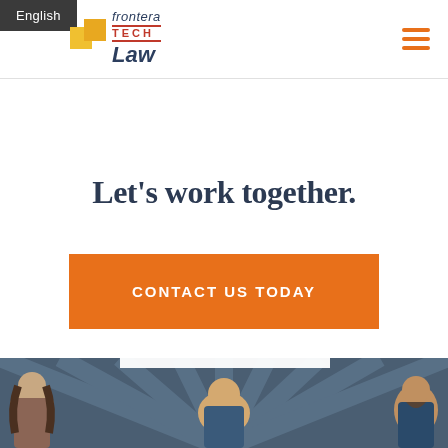English
[Figure (logo): Frontera Tech Law logo with two gold squares and stylized text]
[Figure (other): Hamburger menu icon with three orange horizontal lines]
Let's work together.
CONTACT US TODAY
[Figure (illustration): Team illustration with illustrated people on dark blue background with sunburst rays]